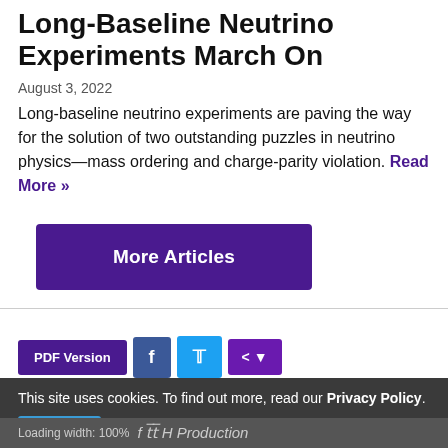Long-Baseline Neutrino Experiments March On
August 3, 2022
Long-baseline neutrino experiments are paving the way for the solution of two outstanding puzzles in neutrino physics—mass ordering and charge-parity violation. Read More »
More Articles
PDF Version
This site uses cookies. To find out more, read our Privacy Policy.
I Agree
f t̄t̄ H Production